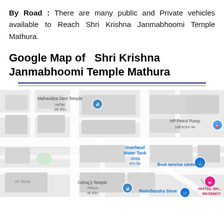By Road : There are many public and Private vehicles available to Reach Shri Krishna Janmabhoomi Temple Mathura.
Google Map of Shri Krishna Janmabhoomi Temple Mathura
[Figure (map): Google Map showing the area around Shri Krishna Janmabhoomi Temple Mathura, with landmarks including Mahavidya Devi Temple, HP Petrol Pump, Overhead Water Tank, Boat service center, Giriraj ji Temple, Ramchandra Store, and Hotel Sheetal Regency.]